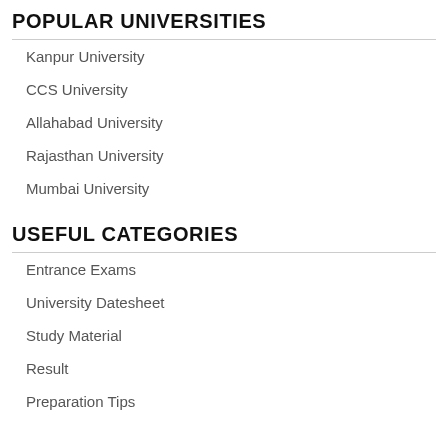POPULAR UNIVERSITIES
Kanpur University
CCS University
Allahabad University
Rajasthan University
Mumbai University
USEFUL CATEGORIES
Entrance Exams
University Datesheet
Study Material
Result
Preparation Tips